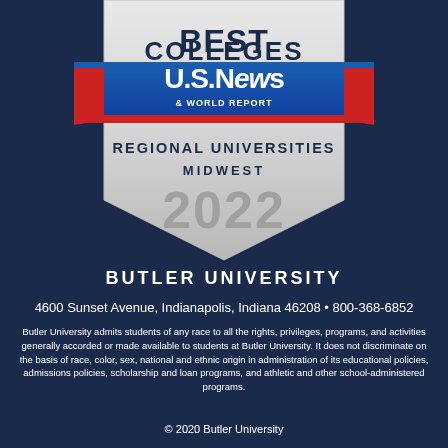[Figure (logo): U.S. News & World Report Best Colleges badge — Regional Universities Midwest 2022. A shield/badge shape with silver/white body, blue ribbon banner with 'U.S. News & World Report' logo, and text 'BEST COLLEGES', 'REGIONAL UNIVERSITIES', 'MIDWEST', '2022'.]
BUTLER UNIVERSITY
4600 Sunset Avenue, Indianapolis, Indiana 46208 • 800-368-6852
Butler University admits students of any race to all the rights, privileges, programs, and activities generally accorded or made available to students at Butler University. It does not discriminate on the basis of race, color, sex, national and ethnic origin in administration of its educational policies, admissions policies, scholarship and loan programs, and athletic and other school-administered programs.
© 2020 Butler University